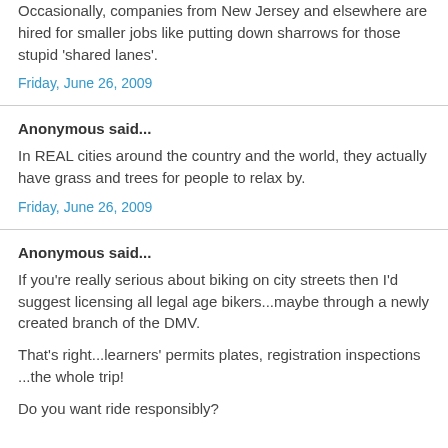Occasionally, companies from New Jersey and elsewhere are hired for smaller jobs like putting down sharrows for those stupid 'shared lanes'.
Friday, June 26, 2009
Anonymous said...
In REAL cities around the country and the world, they actually have grass and trees for people to relax by.
Friday, June 26, 2009
Anonymous said...
If you're really serious about biking on city streets then I'd suggest licensing all legal age bikers...maybe through a newly created branch of the DMV.
That's right...learners' permits plates, registration inspections ...the whole trip!
Do you want ride responsibly?